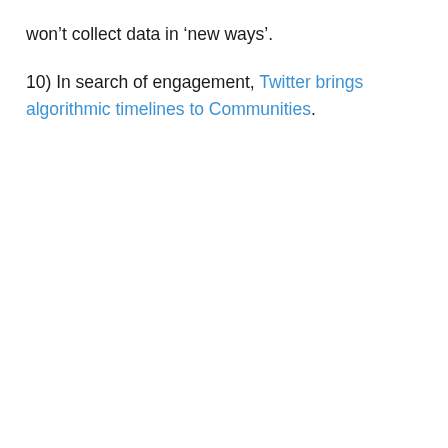won't collect data in 'new ways'.
10) In search of engagement, Twitter brings algorithmic timelines to Communities.